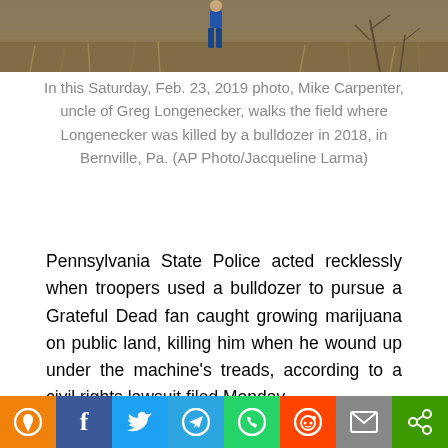[Figure (photo): A person walking in a brown field with dry vegetation in winter]
In this Saturday, Feb. 23, 2019 photo, Mike Carpenter, uncle of Greg Longenecker, walks the field where Longenecker was killed by a bulldozer in 2018, in Bernville, Pa. (AP Photo/Jacqueline Larma)
Pennsylvania State Police acted recklessly when troopers used a bulldozer to pursue a Grateful Dead fan caught growing marijuana on public land, killing him when he wound up under the machine’s treads, according to a civil rights lawsuit filed Monday.
Greg Longenecker’s family said state police had no business chasing him with a dangerous piece of machinery — especially over a few pot plants the 51-year-old was cultivating for personal use. His death last July… (rs)